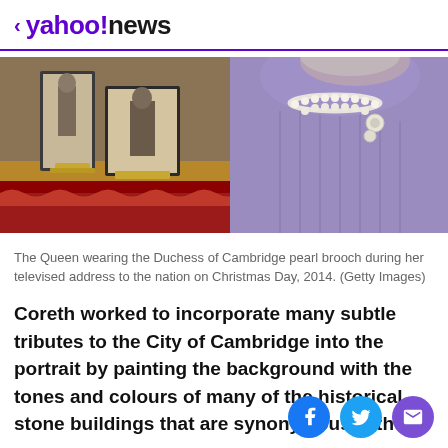< yahoo!news
[Figure (photo): The Queen wearing a lavender/purple outfit with a pearl brooch and pearl necklace, seated at a desk with framed photographs and a Christmas tree in the background.]
The Queen wearing the Duchess of Cambridge pearl brooch during her televised address to the nation on Christmas Day, 2014. (Getty Images)
Coreth worked to incorporate many subtle tributes to the City of Cambridge into the portrait by painting the background with the tones and colours of many of the historical stone buildings that are synonymous with the